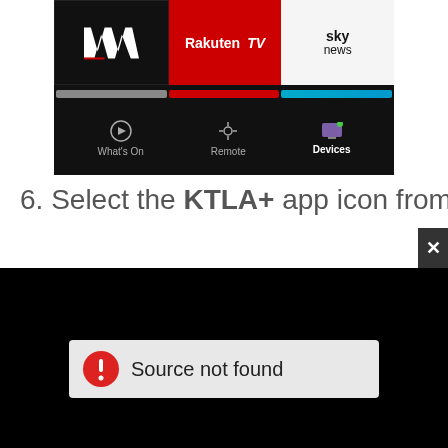[Figure (screenshot): A Roku-style TV app interface showing WWE, Rakuten TV, and Sky News app icons, with a navigation bar at the bottom showing What's On, Remote, and Devices tabs with Devices selected.]
6. Select the KTLA+ app icon from the
[Figure (screenshot): A black video player screen showing a 'Source not found' error message with a red warning icon on a light gray background bar.]